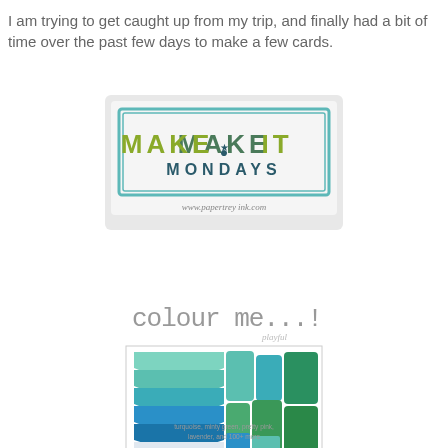I am trying to get caught up from my trip, and finally had a bit of time over the past few days to make a few cards.
[Figure (logo): Make It Mondays logo from papertrey ink - teal border rectangle with MAKE IT MONDAYS text in olive/teal]
[Figure (logo): Colour Me...! playful logo with teal chevrons and stacked paper/tape rolls image below]
turquoise, minty green, pretty pink, lavender, and 100+ more